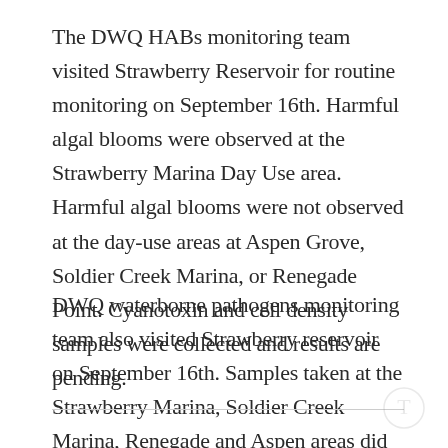The DWQ HABs monitoring team visited Strawberry Reservoir for routine monitoring on September 16th. Harmful algal blooms were observed at the Strawberry Marina Day Use area. Harmful algal blooms were not observed at the day-use areas at Aspen Grove, Soldier Creek Marina, or Renegade Point. Cyanotoxin and cell density samples were collected and results are pending.
DWQ waterborne pathogens monitoring team also visited Strawberry reservoir on September 16th. Samples taken at the Strawberry Marina, Soldier Creek Marina, Renegade and Aspen areas did not contain E. coli above recreational thresholds.